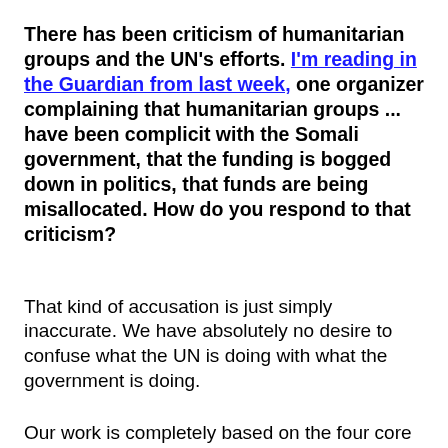There has been criticism of humanitarian groups and the UN's efforts. I'm reading in the Guardian from last week, one organizer complaining that humanitarian groups ... have been complicit with the Somali government, that the funding is bogged down in politics, that funds are being misallocated. How do you respond to that criticism?
That kind of accusation is just simply inaccurate. We have absolutely no desire to confuse what the UN is doing with what the government is doing.
Our work is completely based on the four core humanitarian principles of independence, impartiality